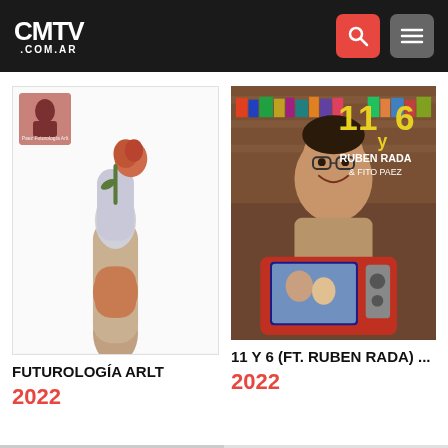CMTV .COM.AR
[Figure (illustration): Album cover for Futurología Arlt — a stylized hand holding a metallic rose, with a small inset thumbnail showing a face illustration labeled Paez Futurología Arlt]
FUTUROLOGÍA ARLT
2022
[Figure (photo): Album cover for 11 y 6 (Ft. Ruben Rada) — showing a man smiling surrounded by books, with yellow text overlay reading 11 y 6 RUBEN RADA & FITO PAEZ, and a retro television set in the foreground showing children]
11 Y 6 (FT. RUBEN RADA) ...
2022